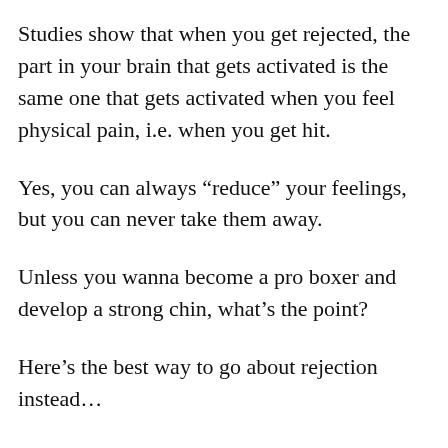Studies show that when you get rejected, the part in your brain that gets activated is the same one that gets activated when you feel physical pain, i.e. when you get hit.
Yes, you can always “reduce” your feelings, but you can never take them away.
Unless you wanna become a pro boxer and develop a strong chin, what’s the point?
Here’s the best way to go about rejection instead…
It’s a “shortcut” that my friend Troy has discovered.
Based on evolutionary psychology, any guy – even